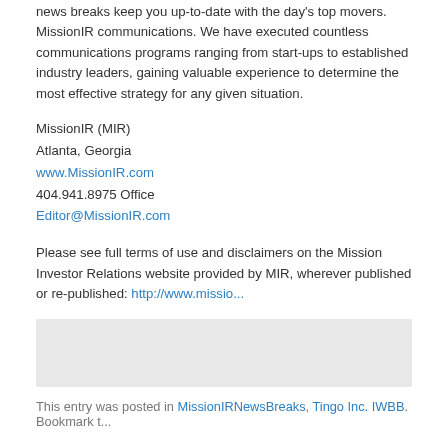news breaks keep you up-to-date with the day's top movers. MissionIR communications. We have executed countless communications programs ranging from start-ups to established industry leaders, gaining valuable experience to determine the most effective strategy for any given situation.
MissionIR (MIR)
Atlanta, Georgia
www.MissionIR.com
404.941.8975 Office
Editor@MissionIR.com
Please see full terms of use and disclaimers on the Mission Investor Relations website provided by MIR, wherever published or re-published: http://www.missio...
[Figure (other): Gray shaded box/advertisement area]
This entry was posted in MissionIRNewsBreaks, Tingo Inc. IWBB. Bookmark t...
← MissionIRNewsBreaks – Cybin Inc. (NEO: CYBN) (NYSE American: CYBN) Announces Key FDA Approvals, Participation in Psychedelics Conference
Flora Gro... Lifestyle...